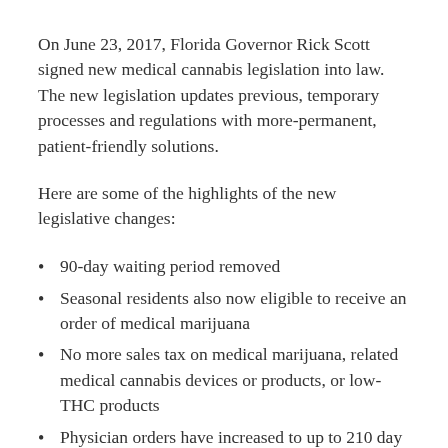On June 23, 2017, Florida Governor Rick Scott signed new medical cannabis legislation into law. The new legislation updates previous, temporary processes and regulations with more-permanent, patient-friendly solutions.
Here are some of the highlights of the new legislative changes:
90-day waiting period removed
Seasonal residents also now eligible to receive an order of medical marijuana
No more sales tax on medical marijuana, related medical cannabis devices or products, or low-THC products
Physician orders have increased to up to 210 day